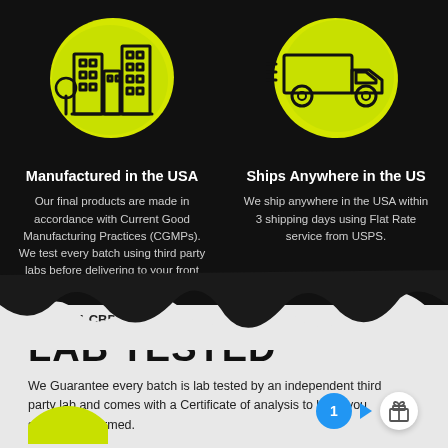[Figure (illustration): Building/factory icon on yellow paint blob background]
[Figure (illustration): Delivery truck icon on yellow paint blob background]
Manufactured in the USA
Our final products are made in accordance with Current Good Manufacturing Practices (CGMPs). We test every batch using third party labs before delivering to your front door.
Ships Anywhere in the US
We ship anywhere in the USA within 3 shipping days using Flat Rate service from USPS.
Rescue 1 CBD
LAB TESTED
We Guarantee every batch is lab tested by an independent third party lab and comes with a Certificate of analysis to keep you safe, and informed.